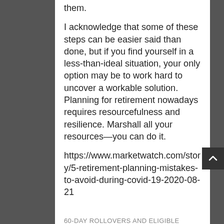them.
I acknowledge that some of these steps can be easier said than done, but if you find yourself in a less-than-ideal situation, your only option may be to work hard to uncover a workable solution. Planning for retirement nowadays requires resourcefulness and resilience. Marshall all your resources—you can do it.
https://www.marketwatch.com/story/5-retirement-planning-mistakes-to-avoid-during-covid-19-2020-08-21
60-DAY ROLLOVERS AND ELIGIBLE DESIGNATED BENEFICIARIES: TODAY'S SLOTT REPORT